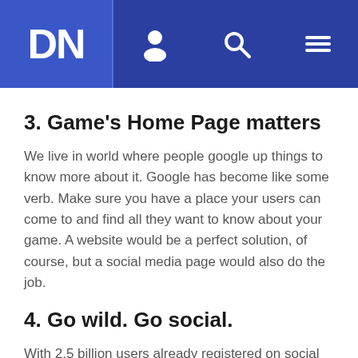DN navigation header
3. Game's Home Page matters
We live in world where people google up things to know more about it. Google has become like some verb. Make sure you have a place your users can come to and find all they want to know about your game. A website would be a perfect solution, of course, but a social media page would also do the job.
4. Go wild. Go social.
With 2.5 billion users already registered on social sites (as in 2017 from Statista), never miss the scope to such scalable market